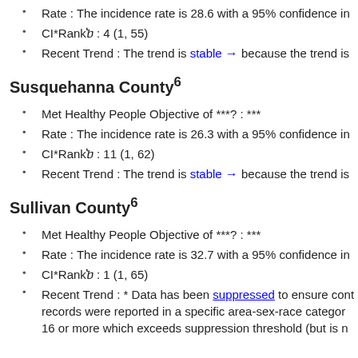Rate : The incidence rate is 28.6 with a 95% confidence in
CI*Rank⋔ : 4 (1, 55)
Recent Trend : The trend is stable → because the trend is
Susquehanna County⁶
Met Healthy People Objective of ***? : ***
Rate : The incidence rate is 26.3 with a 95% confidence in
CI*Rank⋔ : 11 (1, 62)
Recent Trend : The trend is stable → because the trend is
Sullivan County⁶
Met Healthy People Objective of ***? : ***
Rate : The incidence rate is 32.7 with a 95% confidence in
CI*Rank⋔ : 1 (1, 65)
Recent Trend : * Data has been suppressed to ensure conf records were reported in a specific area-sex-race category 16 or more which exceeds suppression threshold (but is n